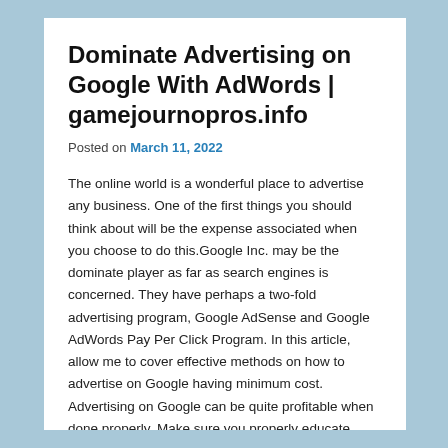Dominate Advertising on Google With AdWords | gamejournopros.info
Posted on March 11, 2022
The online world is a wonderful place to advertise any business. One of the first things you should think about will be the expense associated when you choose to do this.Google Inc. may be the dominate player as far as search engines is concerned. They have perhaps a two-fold advertising program, Google AdSense and Google AdWords Pay Per Click Program. In this article, allow me to cover effective methods on how to advertise on Google having minimum cost. Advertising on Google can be quite profitable when done properly. Make sure you properly educate yourself prior to deciding to advertise with Google. If you ever go in blindly, advertising on Google can become very financially demanding.How to Advertise